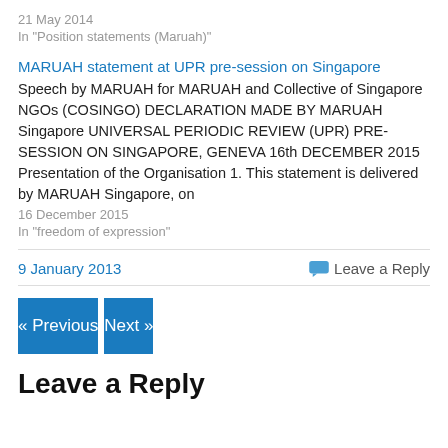21 May 2014
In "Position statements (Maruah)"
MARUAH statement at UPR pre-session on Singapore
Speech by MARUAH for MARUAH and Collective of Singapore NGOs (COSINGO) DECLARATION MADE BY MARUAH Singapore UNIVERSAL PERIODIC REVIEW (UPR) PRE-SESSION ON SINGAPORE, GENEVA 16th DECEMBER 2015 Presentation of the Organisation 1. This statement is delivered by MARUAH Singapore, on
16 December 2015
In "freedom of expression"
9 January 2013
Leave a Reply
« Previous
Next »
Leave a Reply